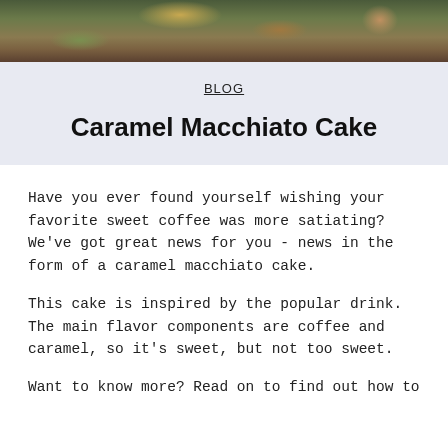[Figure (photo): Food photo showing a caramel macchiato cake with caramel drizzle and chocolate pieces on a dark background]
BLOG
Caramel Macchiato Cake
Have you ever found yourself wishing your favorite sweet coffee was more satiating? We've got great news for you - news in the form of a caramel macchiato cake.
This cake is inspired by the popular drink. The main flavor components are coffee and caramel, so it's sweet, but not too sweet.
Want to know more? Read on to find out how to